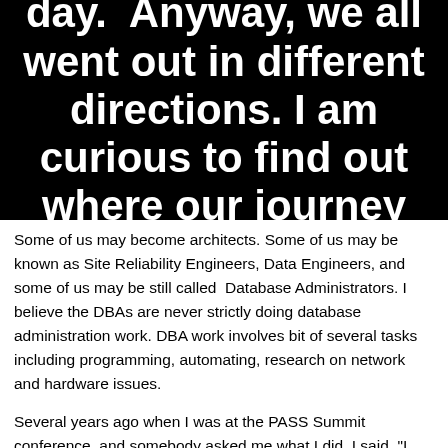[Figure (other): Black background banner with large white bold text reading: projects until the last day. Anyway, we all went out in different directions. I am curious to find out where our journey takes us.]
Some of us may become architects. Some of us may be known as Site Reliability Engineers, Data Engineers, and some of us may be still called  Database Administrators. I believe the DBAs are never strictly doing database administration work. DBA work involves bit of several tasks including programming, automating, research on network and hardware issues.
Several years ago when I was at the PASS Summit conference, and somebody asked me what I did. I said, "I